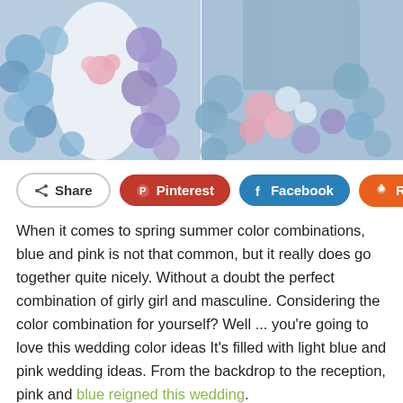[Figure (photo): Two wedding flower backdrop photos side by side: left shows bride in white dress with blue, purple, and pink hydrangea flower wall; right shows blue and pink floral arch with draped blue fabric]
Share
Pinterest
Facebook
Reddit
When it comes to spring summer color combinations, blue and pink is not that common, but it really does go together quite nicely. Without a doubt the perfect combination of girly girl and masculine. Considering the color combination for yourself? Well ... you’re going to love this wedding color ideas It’s filled with light blue and pink wedding ideas. From the backdrop to the reception, pink and blue reigned this wedding.